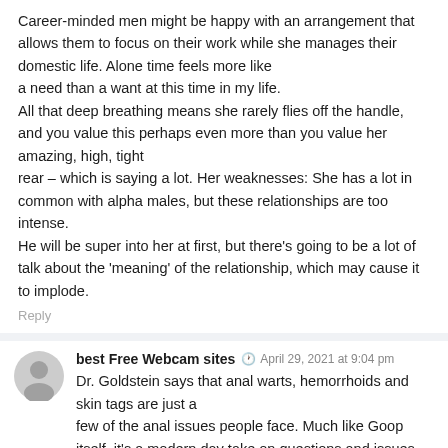Career-minded men might be happy with an arrangement that allows them to focus on their work while she manages their domestic life. Alone time feels more like a need than a want at this time in my life. All that deep breathing means she rarely flies off the handle, and you value this perhaps even more than you value her amazing, high, tight rear – which is saying a lot. Her weaknesses: She has a lot in common with alpha males, but these relationships are too intense. He will be super into her at first, but there's going to be a lot of talk about the 'meaning' of the relationship, which may cause it to implode.
Reply
best Free Webcam sites  April 29, 2021 at 9:04 pm
Dr. Goldstein says that anal warts, hemorrhoids and skin tags are just a few of the anal issues people face. Much like Goop itself, it's a modern day take on questions and issues as old